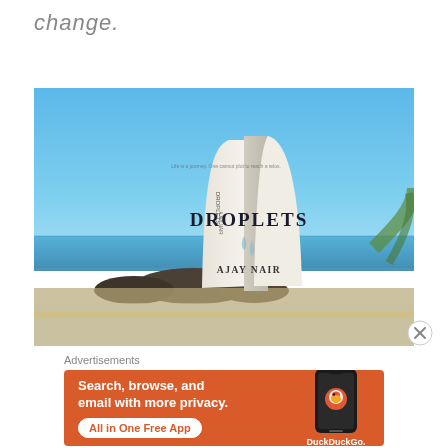change.
[Figure (photo): A book titled 'DROPLETS' by AJAY NAIR standing open on a surface with a beach and blue sky in the background.]
Advertisements
[Figure (infographic): DuckDuckGo advertisement banner with orange background. Text: 'Search, browse, and email with more privacy. All in One Free App'. Shows a smartphone with DuckDuckGo logo and name.]